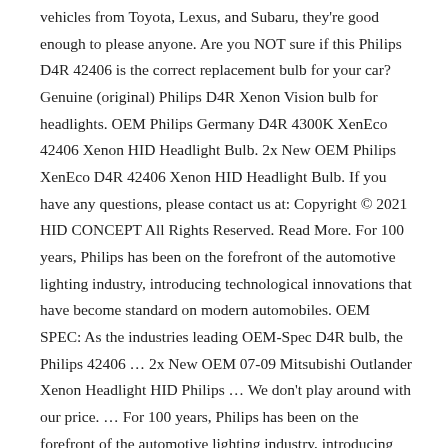vehicles from Toyota, Lexus, and Subaru, they're good enough to please anyone. Are you NOT sure if this Philips D4R 42406 is the correct replacement bulb for your car? Genuine (original) Philips D4R Xenon Vision bulb for headlights. OEM Philips Germany D4R 4300K XenEco 42406 Xenon HID Headlight Bulb. 2x New OEM Philips XenEco D4R 42406 Xenon HID Headlight Bulb. If you have any questions, please contact us at: Copyright © 2021 HID CONCEPT All Rights Reserved. Read More. For 100 years, Philips has been on the forefront of the automotive lighting industry, introducing technological innovations that have become standard on modern automobiles. OEM SPEC: As the industries leading OEM-Spec D4R bulb, the Philips 42406 … 2x New OEM 07-09 Mitsubishi Outlander Xenon Headlight HID Philips … We don't play around with our price. … For 100 years, Philips has been on the forefront of the automotive lighting industry, introducing technological innovations that have become standard on modern automobiles - Philips … OEM QUALITY: Philips 42406 : The industry standard by which all other D4R bulbs are measured! Why Philips? Frankly, we love the lights. 5 product ratings - Philips Xenon HID Light